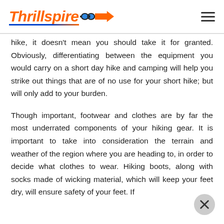Thrillspire
hike, it doesn't mean you should take it for granted. Obviously, differentiating between the equipment you would carry on a short day hike and camping will help you strike out things that are of no use for your short hike; but will only add to your burden.
Though important, footwear and clothes are by far the most underrated components of your hiking gear. It is important to take into consideration the terrain and weather of the region where you are heading to, in order to decide what clothes to wear. Hiking boots, along with socks made of wicking material, which will keep your feet dry, will ensure safety of your feet. If